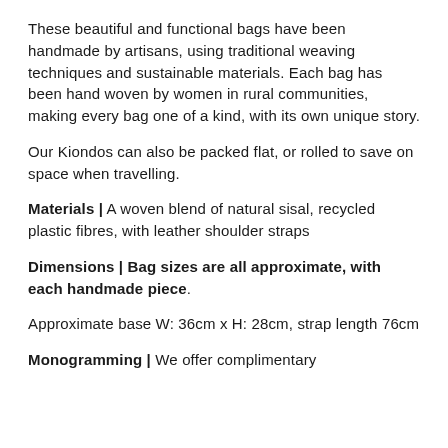These beautiful and functional bags have been handmade by artisans, using traditional weaving techniques and sustainable materials. Each bag has been hand woven by women in rural communities, making every bag one of a kind, with its own unique story.
Our Kiondos can also be packed flat, or rolled to save on space when travelling.
Materials | A woven blend of natural sisal, recycled plastic fibres, with leather shoulder straps
Dimensions | Bag sizes are all approximate, with each handmade piece.
Approximate base W: 36cm x H: 28cm, strap length 76cm
Monogramming | We offer complimentary